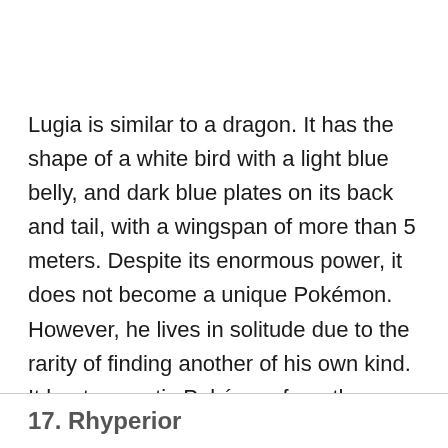Lugia is similar to a dragon. It has the shape of a white bird with a light blue belly, and dark blue plates on its back and tail, with a wingspan of more than 5 meters. Despite its enormous power, it does not become a unique Pokémon. However, he lives in solitude due to the rarity of finding another of his own kind. It hunts aquatic Pokémon from the area in which it resides. It is almost never seen.
17. Rhyperior